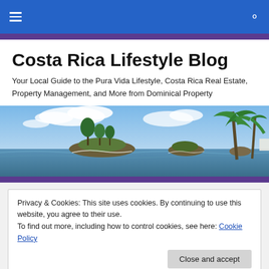Costa Rica Lifestyle Blog — navigation bar with hamburger menu and search icon
Costa Rica Lifestyle Blog
Your Local Guide to the Pura Vida Lifestyle, Costa Rica Real Estate, Property Management, and More from Dominical Property
[Figure (photo): Panoramic coastal photo of Costa Rica showing rocky islands with palm trees and vegetation, ocean waves, blue sky with clouds and tall palm trees in the foreground right]
Privacy & Cookies: This site uses cookies. By continuing to use this website, you agree to their use.
To find out more, including how to control cookies, see here: Cookie Policy
Close and accept
The Costa Rica real estate market has become one of